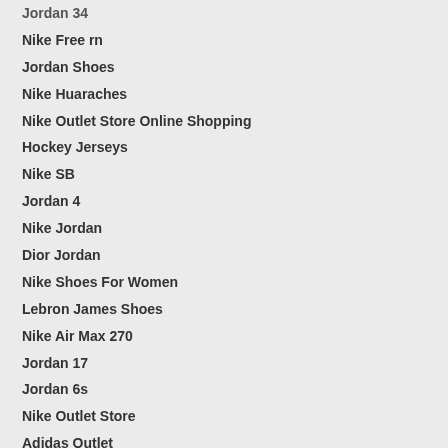Jordan 34
Nike Free rn
Jordan Shoes
Nike Huaraches
Nike Outlet Store Online Shopping
Hockey Jerseys
Nike SB
Jordan 4
Nike Jordan
Dior Jordan
Nike Shoes For Women
Lebron James Shoes
Nike Air Max 270
Jordan 17
Jordan 6s
Nike Outlet Store
Adidas Outlet
Jordan 33
Red Bottom Heels
Jordans Wholesale
Cheap Jordan Shoes
Jordan 11 Concord
Jordan 32